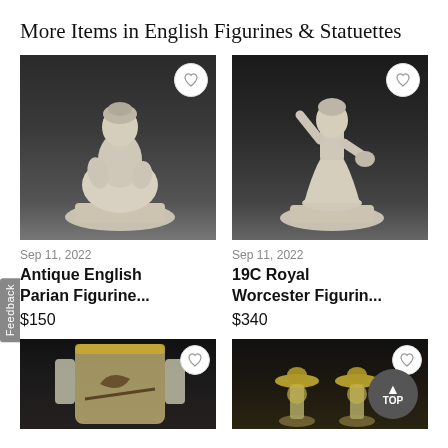More Items in English Figurines & Statuettes
[Figure (photo): White Parian porcelain seated female figurine against dark background with heart/wishlist button overlay]
[Figure (photo): White porcelain standing female figurine (Royal Worcester style) against dark background with heart/wishlist button overlay]
Sep 11, 2022
Antique English Parian Figurine...
$150
Sep 11, 2022
19C Royal Worcester Figurin...
$340
[Figure (photo): Bottom left item: cylindrical vase/vessel with painted bird decoration, with heart/wishlist button overlay]
[Figure (photo): Bottom right item: pair of figurines wearing wide-brimmed hats, with heart/wishlist button and TOP button overlay]